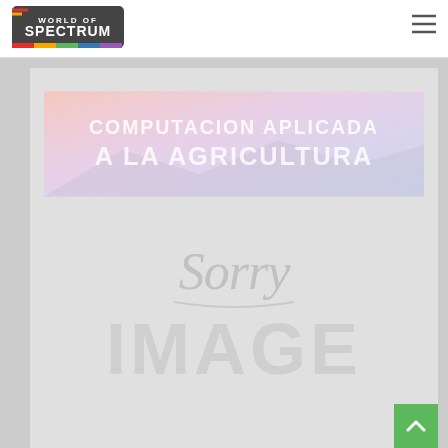[Figure (logo): World of Spectrum logo — dark rectangular badge with rainbow stripe and text 'WORLD OF SPECTRUM']
[Figure (other): Hamburger menu icon (three horizontal lines) in top right of navigation bar]
[Figure (other): Settings gear icon in green outline style, positioned below the nav bar on the right]
[Figure (screenshot): Book cover image for 'COMPUTACION APLICADA A LA AGRICULTURA' with a pastel gradient background (pink/peach/lavender) and bold white text]
[Figure (other): Sorry image not available placeholder — large italic 'Sorry' script text above large bold 'IMAGE' text, all in light grey on a light grey background]
[Figure (other): Scroll-to-top button — green square with white upward chevron arrow, bottom right corner]